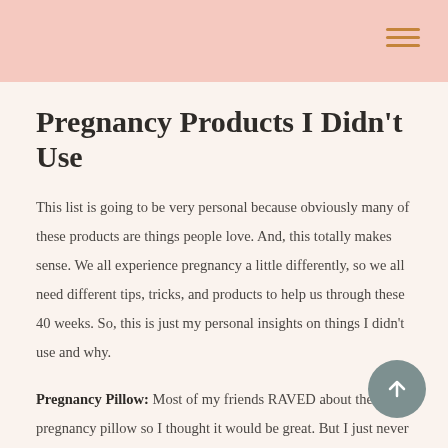Pregnancy Products I Didn't Use
This list is going to be very personal because obviously many of these products are things people love. And, this totally makes sense. We all experience pregnancy a little differently, so we all need different tips, tricks, and products to help us through these 40 weeks. So, this is just my personal insights on things I didn't use and why.
Pregnancy Pillow: Most of my friends RAVED about their pregnancy pillow so I thought it would be great. But I just never took to one with